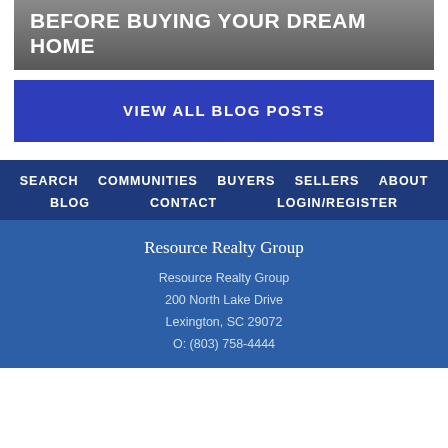BEFORE BUYING YOUR DREAM HOME
VIEW ALL BLOG POSTS
SEARCH
COMMUNITIES
BUYERS
SELLERS
ABOUT
BLOG
CONTACT
LOGIN/REGISTER
Resource Realty Group
Resource Realty Group
200 North Lake Drive
Lexington, SC 29072
O: (803) 758-4444